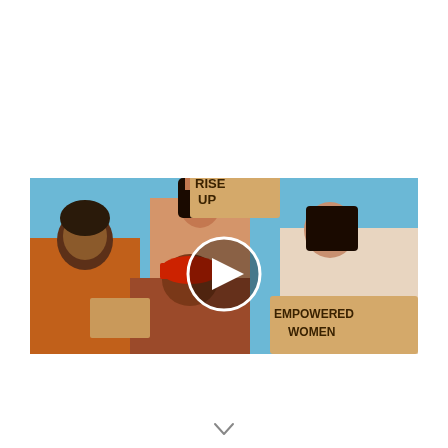[Figure (photo): Four women at a protest/rally against a blue sky, holding cardboard signs reading 'RISE UP' and 'EMPOWERED WOMEN'. A circular play button overlay is centered on the image, suggesting it is a video thumbnail.]